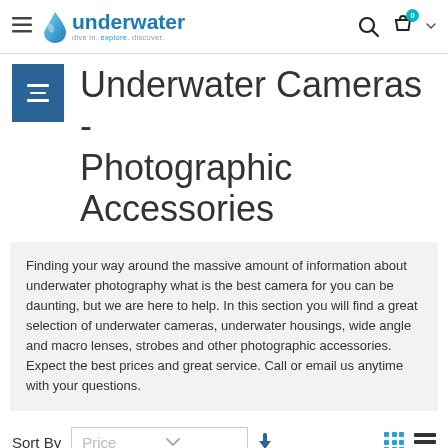underwater — dive in. explore. discover. [navigation header with search and cart]
Underwater Cameras - Photographic Accessories
Finding your way around the massive amount of information about underwater photography what is the best camera for you can be daunting, but we are here to help. In this section you will find a great selection of underwater cameras, underwater housings, wide angle and macro lenses, strobes and other photographic accessories. Expect the best prices and great service. Call or email us anytime with your questions.
Sort By  Price  ↓
Items 1 to 16 of 181 total